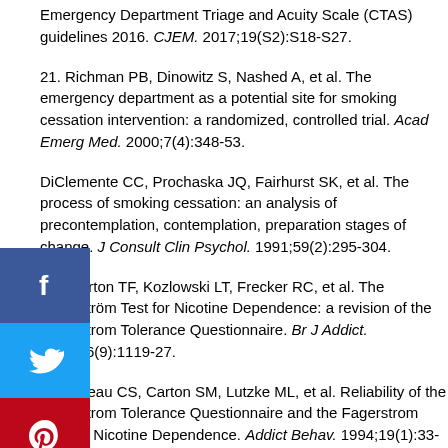Emergency Department Triage and Acuity Scale (CTAS) guidelines 2016. CJEM. 2017;19(S2):S18-S27.
21. Richman PB, Dinowitz S, Nashed A, et al. The emergency department as a potential site for smoking cessation intervention: a randomized, controlled trial. Acad Emerg Med. 2000;7(4):348-53.
DiClemente CC, Prochaska JQ, Fairhurst SK, et al. The process of smoking cessation: an analysis of precontemplation, contemplation, preparation stages of change. J Consult Clin Psychol. 1991;59(2):295-304.
Heatherton TF, Kozlowski LT, Frecker RC, et al. The Fagerstrom Test for Nicotine Dependence: a revision of the Fagerstrom Tolerance Questionnaire. Br J Addict. 1991;86(9):1119-27.
Pomerleau CS, Carton SM, Lutzke ML, et al. Reliability of the Fagerstrom Tolerance Questionnaire and the Fagerstrom Test for Nicotine Dependence. Addict Behav. 1994;19(1):33-9.
25. Becona E, Vazquez FL. The Fagerstrom Test for Nicotine Dependence in a Spanish sample. Psychol Rep. 1998;83:1455-8.
26. Fagerstrom K, Russ C, Yu CR, et al. The Fagerstrom Test for Nicotine